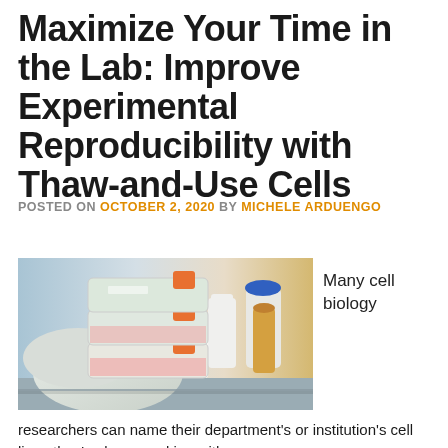Maximize Your Time in the Lab: Improve Experimental Reproducibility with Thaw-and-Use Cells
POSTED ON OCTOBER 2, 2020 BY MICHELE ARDUENGO
[Figure (photo): A gloved hand holding stacked cell culture flasks with orange caps in a laboratory setting, with bottles and containers in the background]
Many cell biology
researchers can name their department's or institution's cell lines they've been working with